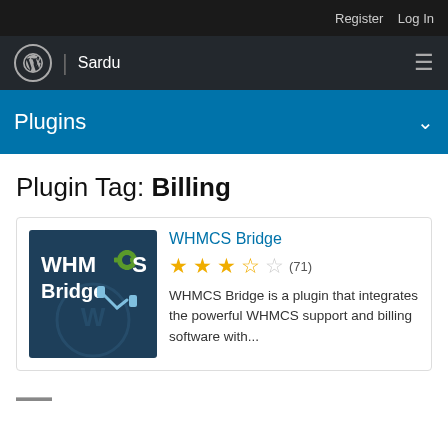Register  Log In
WordPress logo | Sardu  ☰
Plugins ∨
Plugin Tag: Billing
[Figure (logo): WHMCS Bridge plugin logo — dark blue background with WHMCS Bridge text and WordPress logo]
WHMCS Bridge
★★★☆☆ (71)
WHMCS Bridge is a plugin that integrates the powerful WHMCS support and billing software with...